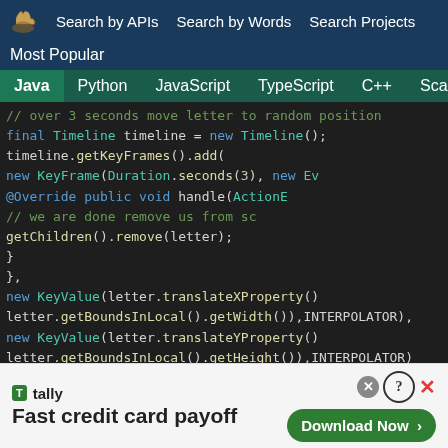Search by APIs  Search by Words  Search Projects
Most Popular
Java  Python  JavaScript  TypeScript  C++  Scala
[Figure (screenshot): Java code snippet showing Timeline animation with KeyFrame and KeyValue for letter movement, with syntax highlighting on dark background]
[Figure (screenshot): Advertisement banner for Tally app - Fast credit card payoff with Download Now button]